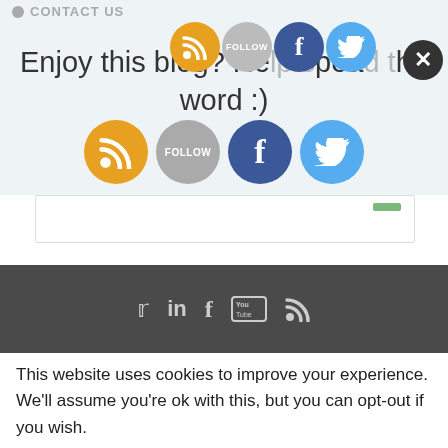CONTACT US
Enjoy this blog? Help spread the word :)
[Figure (infographic): Four social media sharing icons: RSS (orange), Follow (gray), Facebook (blue), Twitter (light blue), plus a close (X) button]
This website uses cookies to improve your experience. We'll assume you're ok with this, but you can opt-out if you wish.
Accept   Read More